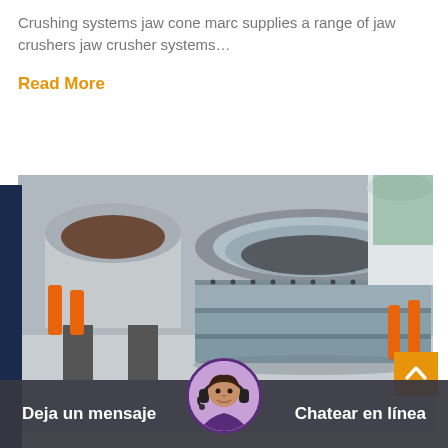Crushing systems jaw cone marc supplies a range of jaw crushers jaw crusher systems…
Read More
[Figure (photo): Industrial cone crusher machines in a manufacturing facility, showing large grey cone crusher components and orange hydraulic cylinders.]
Deja un mensaje
Chatear en línea